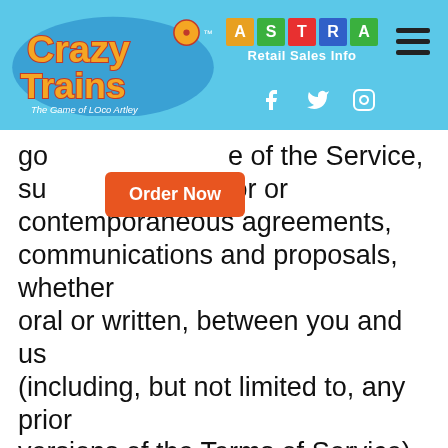[Figure (logo): Crazy Trains logo on light blue header background with ASTRA Retail Sales Info branding, hamburger menu, and social media icons (Facebook, Twitter, Instagram). An orange 'Order Now' button overlaps the main text area.]
go[…]e of the Service, superseding any prior or contemporaneous agreements, communications and proposals, whether oral or written, between you and us (including, but not limited to, any prior versions of the Terms of Service). Any ambiguities in the interpretation of these Terms of Service shall not be construed against the drafting party.
SECTION 18 – GOVERNING LAW
These Terms of Service and any